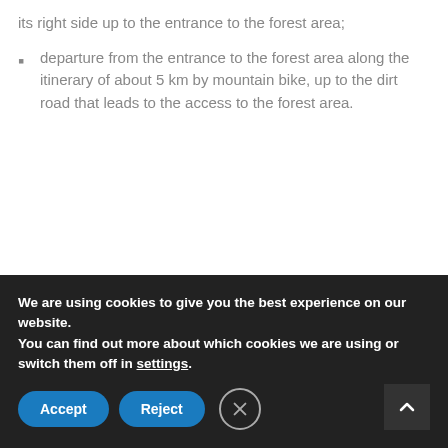its right side up to the entrance to the forest area;
departure from the entrance to the forest area along the itinerary of about 5 km by mountain bike, up to the dirt road that leads to the access to the forest area.
Description
We are using cookies to give you the best experience on our website.
You can find out more about which cookies we are using or switch them off in settings.